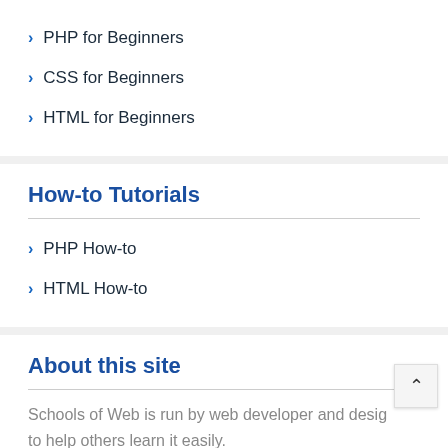PHP for Beginners
CSS for Beginners
HTML for Beginners
How-to Tutorials
PHP How-to
HTML How-to
About this site
Schools of Web is run by web developer and desig to help others learn it easily.